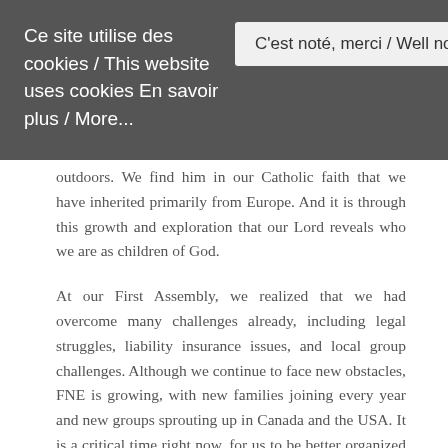Ce site utilise des cookies / This website uses cookies En savoir plus / More...
C'est noté, merci / Well noted, thanks
outdoors. We find him in our Catholic faith that we have inherited primarily from Europe. And it is through this growth and exploration that our Lord reveals who we are as children of God.
At our First Assembly, we realized that we had overcome many challenges already, including legal struggles, liability insurance issues, and local group challenges. Although we continue to face new obstacles, FNE is growing, with new families joining every year and new groups sprouting up in Canada and the USA. It is a critical time right now, for us to be better organized so that we can prepare for and